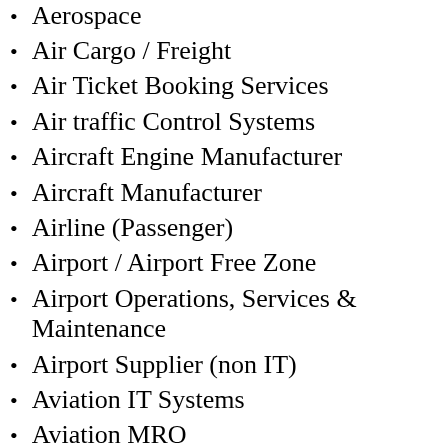Aerospace
Air Cargo / Freight
Air Ticket Booking Services
Air traffic Control Systems
Aircraft Engine Manufacturer
Aircraft Manufacturer
Airline (Passenger)
Airport / Airport Free Zone
Airport Operations, Services & Maintenance
Airport Supplier (non IT)
Aviation IT Systems
Aviation MRO
Aviation Training & Education
Business Aviation Services / Air Craft Charter
Civil Aviation Ministry
Components & Avionics Distributor Reseller
Components & Avionics Manufacturer